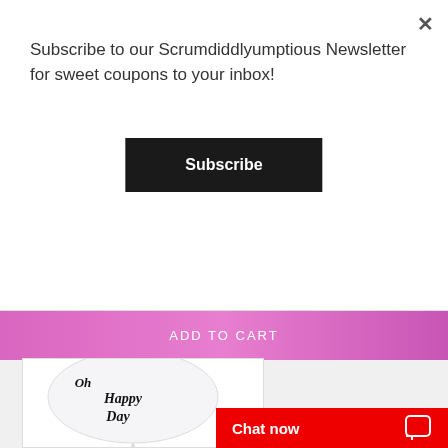Subscribe to our Scrumdiddlyumptious Newsletter for sweet coupons to your inbox!
Subscribe
ADD TO CART
[Figure (photo): White balloon with 'Oh Happy Day' written in decorative script]
Chat now